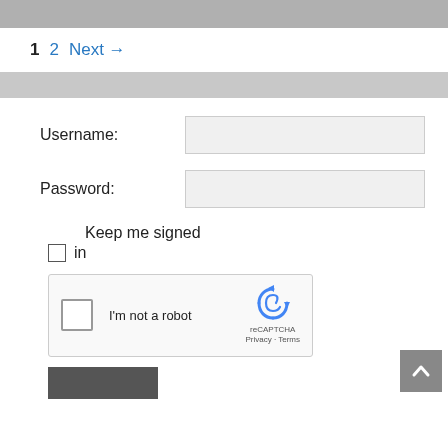1   2   Next →
Username:
Password:
Keep me signed in
[Figure (other): reCAPTCHA widget with checkbox labeled 'I'm not a robot' and reCAPTCHA logo with Privacy and Terms links]
[Figure (other): Scroll-to-top button (chevron up arrow on grey background)]